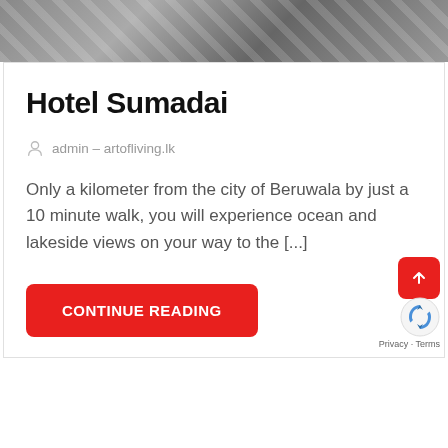[Figure (photo): Top portion of an image showing striped pattern, partially cropped at top of page]
Hotel Sumadai
admin - artofliving.lk
Only a kilometer from the city of Beruwala by just a 10 minute walk, you will experience ocean and lakeside views on your way to the [...]
CONTINUE READING